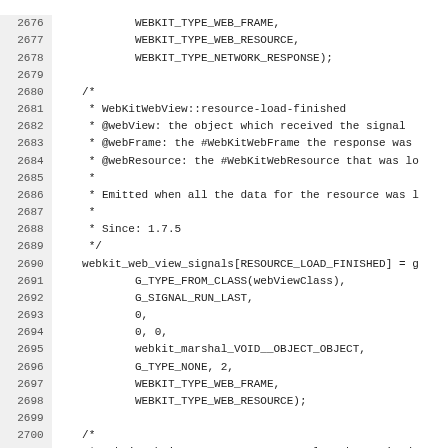Source code listing lines 2676-2707, showing WebKit signal registration code including WEBKIT_TYPE_WEB_FRAME, WEBKIT_TYPE_WEB_RESOURCE, WEBKIT_TYPE_NETWORK_RESPONSE, resource-load-finished and resource-content-length-received signal definitions with GLib signal system calls.